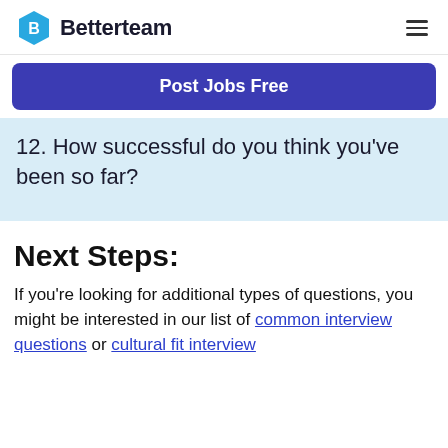Betterteam
Post Jobs Free
12. How successful do you think you've been so far?
Next Steps:
If you're looking for additional types of questions, you might be interested in our list of common interview questions or cultural fit interview